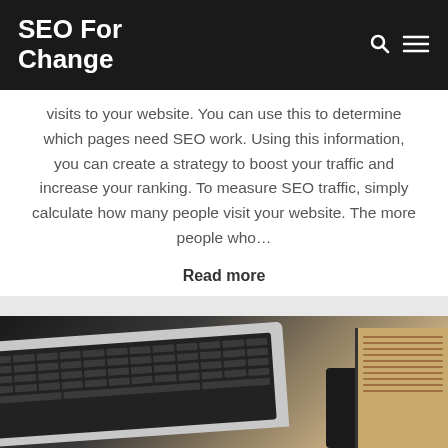SEO For Change
visits to your website. You can use this to determine which pages need SEO work. Using this information, you can create a strategy to boost your traffic and increase your ranking. To measure SEO traffic, simply calculate how many people visit your website. The more people who…
Read more
[Figure (photo): Photo of a laptop keyboard on a wooden desk with a notebook and phone visible in the background.]